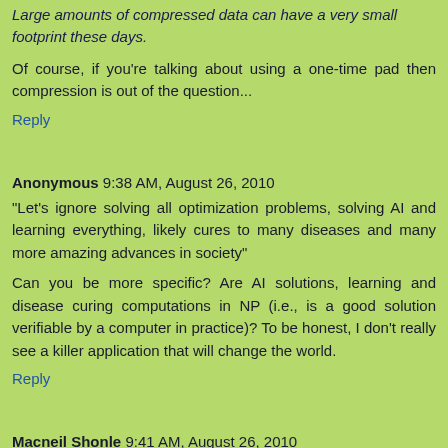Large amounts of compressed data can have a very small footprint these days.
Of course, if you're talking about using a one-time pad then compression is out of the question...
Reply
Anonymous 9:38 AM, August 26, 2010
"Let's ignore solving all optimization problems, solving AI and learning everything, likely cures to many diseases and many more amazing advances in society"
Can you be more specific? Are AI solutions, learning and disease curing computations in NP (i.e., is a good solution verifiable by a computer in practice)? To be honest, I don't really see a killer application that will change the world.
Reply
Macneil Shonle 9:41 AM, August 26, 2010